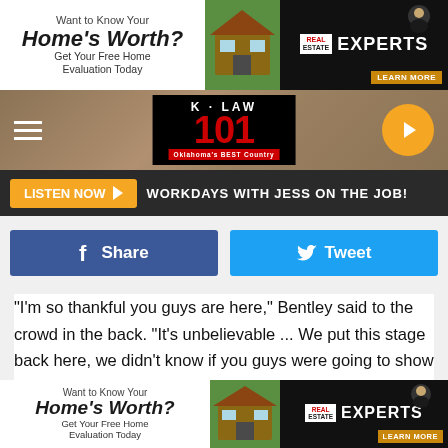[Figure (screenshot): Top advertisement banner - Want to Know Your Home's Worth? Get Your Free Home Evaluation Today - Real Estate Experts Learn More]
[Figure (logo): K-LAW 101 Oklahoma's BEST Country radio station website header with hamburger menu and play button]
LISTEN NOW ▶ WORKDAYS WITH JESS ON THE JOB!
[Figure (screenshot): Facebook Share and Twitter Tweet social sharing buttons]
"I'm so thankful you guys are here," Bentley said to the crowd in the back. "It's unbelievable ... We put this stage back here, we didn't know if you guys were going to show up, so it's a big leap of faith. I might be singing to nobody, so thank you guys so much."
Bentley sang "Riser," joking that he was getting through each
[Figure (screenshot): Bottom advertisement banner - Want to Know Your Home's Worth? Get Your Free Home Evaluation Today - Real Estate Experts Learn More]